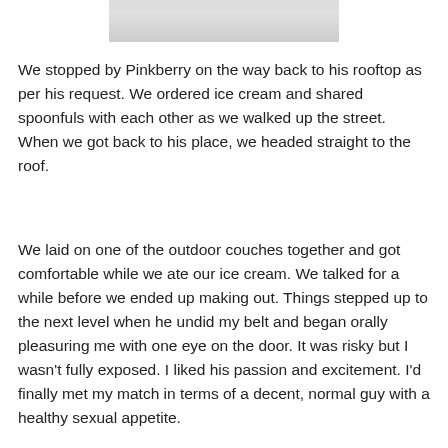[Figure (photo): Partial photo visible at the top of the page, cropped, showing a light gray/white surface or fabric.]
We stopped by Pinkberry on the way back to his rooftop as per his request. We ordered ice cream and shared spoonfuls with each other as we walked up the street. When we got back to his place, we headed straight to the roof.
We laid on one of the outdoor couches together and got comfortable while we ate our ice cream. We talked for a while before we ended up making out. Things stepped up to the next level when he undid my belt and began orally pleasuring me with one eye on the door. It was risky but I wasn't fully exposed. I liked his passion and excitement. I'd finally met my match in terms of a decent, normal guy with a healthy sexual appetite.